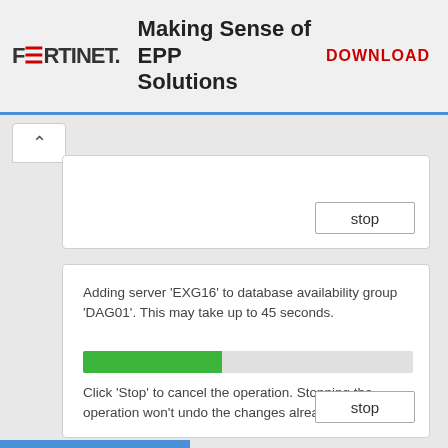[Figure (screenshot): Fortinet banner advertisement for 'Making Sense of EPP Solutions' with DOWNLOAD button, logo, and blue progress bar]
[Figure (screenshot): Windows dialog card with stop button (partially visible top card)]
Adding server 'EXG16' to database availability group 'DAG01'. This may take up to 45 seconds.
Click 'Stop' to cancel the operation. Stopping the operation won't undo the changes already applied.